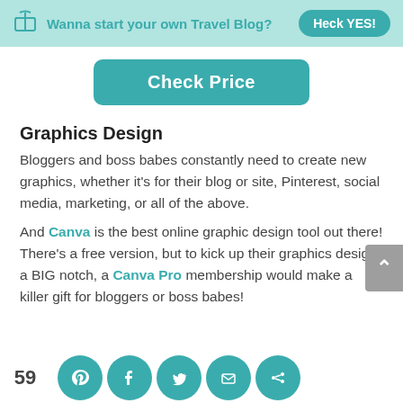Wanna start your own Travel Blog? Heck YES!
[Figure (other): Check Price teal rounded button]
Graphics Design
Bloggers and boss babes constantly need to create new graphics, whether it's for their blog or site, Pinterest, social media, marketing, or all of the above.
And Canva is the best online graphic design tool out there! There's a free version, but to kick up their graphics design a BIG notch, a Canva Pro membership would make a killer gift for bloggers or boss babes!
With the Pro plan, you'll have access to
[Figure (other): Social share bar with count 59 and Pinterest, Facebook, Twitter, Email, Share icons]